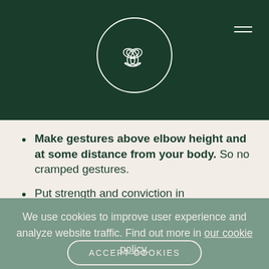[Figure (logo): Circular logo with interlocking 'e' letters on dark green header background]
Make gestures above elbow height and at some distance from your body. So no cramped gestures.
Put strength and conviction in
We use cookies to improve user experience and analyze website traffic. Find out more in our cookie policy.
ACCEPT COOKIES